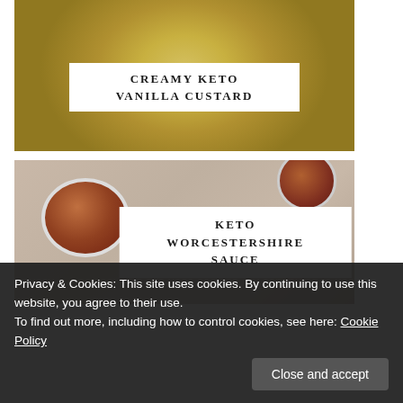[Figure (photo): Overhead view of a bowl of creamy yellow keto vanilla custard with reddish-brown spice dusted on top, on a blue-grey linen background]
CREAMY KETO VANILLA CUSTARD
[Figure (photo): Overhead view of keto worcestershire sauce in bowls on a beige/taupe background, with dark reddish-brown sauce]
KETO WORCESTERSHIRE SAUCE
Privacy & Cookies: This site uses cookies. By continuing to use this website, you agree to their use.
To find out more, including how to control cookies, see here: Cookie Policy
Close and accept